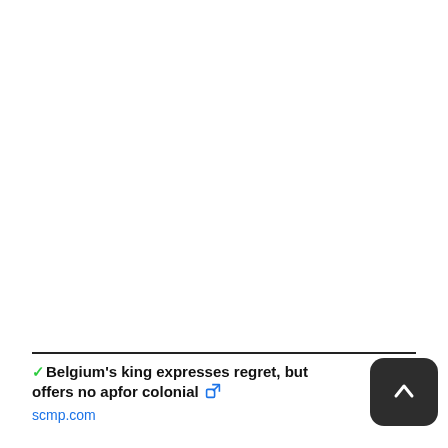✓Belgium's king expresses regret, but offers no apology for colonial [external link icon]
scmp.com